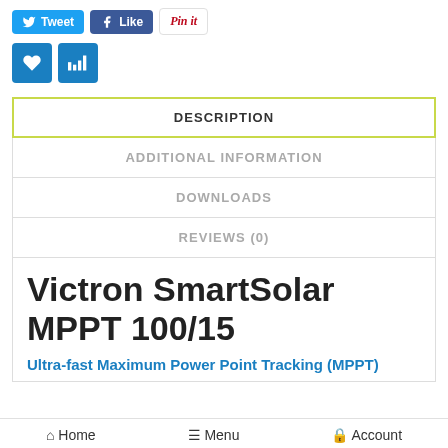[Figure (screenshot): Social sharing buttons: Tweet (Twitter), Like (Facebook), Pin it (Pinterest)]
[Figure (screenshot): Two blue icon buttons: heart/wishlist and bar-chart/compare]
DESCRIPTION
ADDITIONAL INFORMATION
DOWNLOADS
REVIEWS (0)
Victron SmartSolar MPPT 100/15
Ultra-fast Maximum Power Point Tracking (MPPT)
Home   Menu   Account